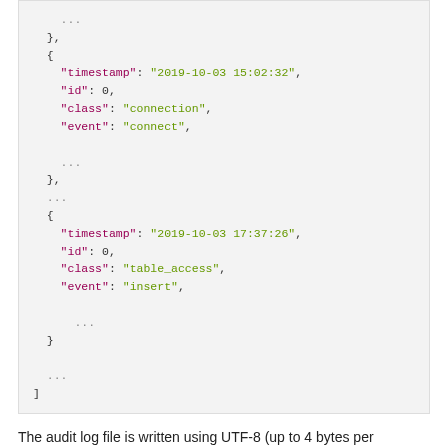[Figure (other): JSON code block showing audit log entries with timestamps, id, class, and event fields, with ellipsis placeholders]
The audit log file is written using UTF-8 (up to 4 bytes per character). When the audit log plugin begins writing a new log file, it writes the opening [ array marker. When the plugin closes a log file, it writes the closing ] array marker. The closing marker is not present while